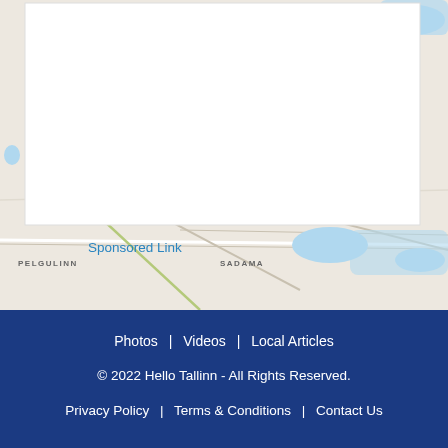[Figure (map): Map background showing Tallinn area with road network and water features. Place names PELGULINN and SADAMA visible.]
Sponsored Link
Photos | Videos | Local Articles
© 2022 Hello Tallinn - All Rights Reserved.
Privacy Policy | Terms & Conditions | Contact Us
Server Error
Our system is experiencing some issues at this time. Please try again later.